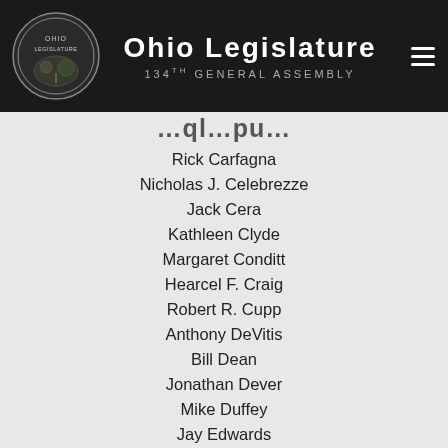Ohio Legislature 134th General Assembly
Rick Carfagna
Nicholas J. Celebrezze
Jack Cera
Kathleen Clyde
Margaret Conditt
Hearcel F. Craig
Robert R. Cupp
Anthony DeVitis
Bill Dean
Jonathan Dever
Mike Duffey
Jay Edwards
Keith Faber
Teresa Fedor
Tavia Galonski
Theresa Gavarone
Timothy Ginter